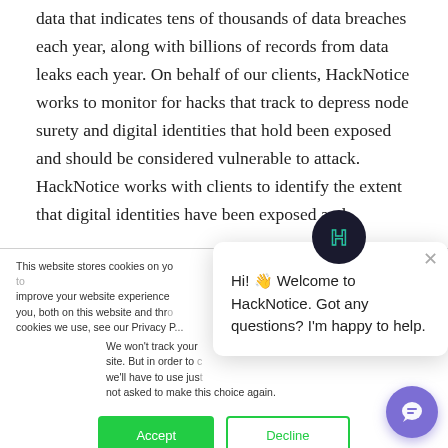data that indicates tens of thousands of data breaches each year, along with billions of records from data leaks each year. On behalf of our clients, HackNotice works to monitor for hacks that track to depress node surety and digital identities that hold been exposed and should be considered vulnerable to attack. HackNotice works with clients to identify the extent that digital identities have been exposed and
This website stores cookies on your computer. These are used to improve your website experience you, both on this website and through cookies we use, see our Privacy P...
We won't track your site. But in order to c we'll have to use jus not asked to make this choice again.
[Figure (other): Cookie consent dialog with Accept (green) and Decline (outlined green) buttons]
[Figure (other): HackNotice chat widget popup with dark circular logo avatar showing stylized H in green/blue, message: Hi! Welcome to HackNotice. Got any questions? I'm happy to help. With X close button.]